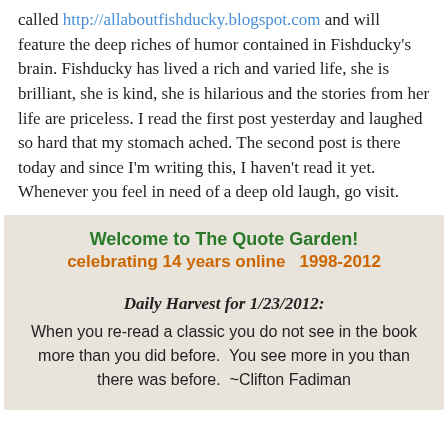called http://allaboutfishducky.blogspot.com and will feature the deep riches of humor contained in Fishducky's brain. Fishducky has lived a rich and varied life, she is brilliant, she is kind, she is hilarious and the stories from her life are priceless. I read the first post yesterday and laughed so hard that my stomach ached. The second post is there today and since I'm writing this, I haven't read it yet. Whenever you feel in need of a deep old laugh, go visit.
[Figure (infographic): Quote Garden widget with green header 'Welcome to The Quote Garden!', orange subheader 'celebrating 14 years online 1998-2012', and a daily harvest quote in italic bold: 'Daily Harvest for 1/23/2012:' followed by a Clifton Fadiman quote about re-reading classics.]